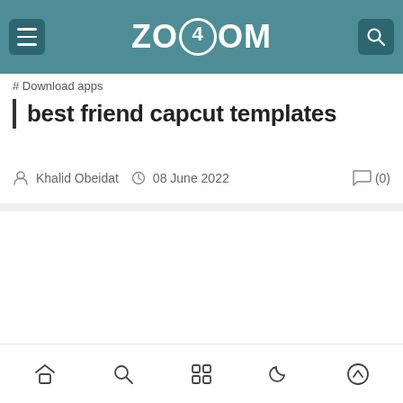ZOOM4OM — website header with menu button and search button
# Download apps
best friend capcut templates
Khalid Obeidat   08 June 2022   (0)
[Figure (screenshot): Empty white content area below the article header]